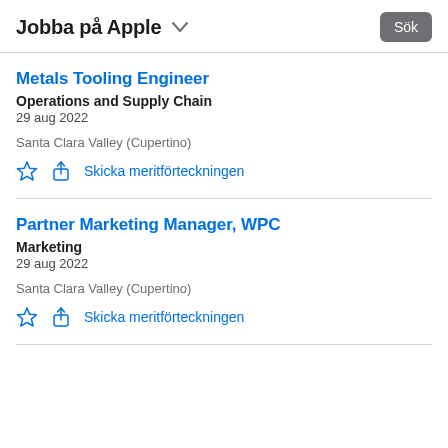Jobba på Apple
Metals Tooling Engineer
Operations and Supply Chain
29 aug 2022
Santa Clara Valley (Cupertino)
Skicka meritförteckningen
Partner Marketing Manager, WPC
Marketing
29 aug 2022
Santa Clara Valley (Cupertino)
Skicka meritförteckningen